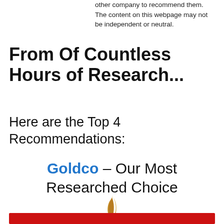other company to recommend them. The content on this webpage may not be independent or neutral.
From Of Countless Hours of Research...
Here are the Top 4 Recommendations:
Goldco – Our Most Researched Choice
[Figure (logo): Goldco logo with golden flame and GOLDCO text in serif font]
[Figure (other): Red call-to-action button bar at bottom]